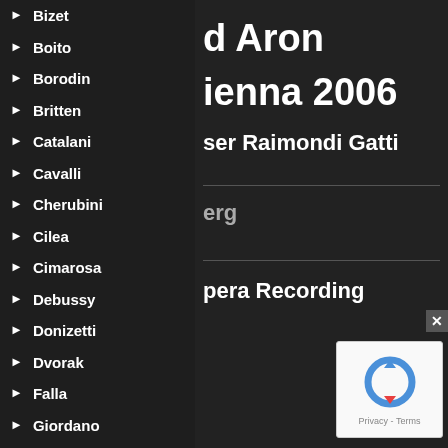Bizet
Boito
Borodin
Britten
Catalani
Cavalli
Cherubini
Cilea
Cimarosa
Debussy
Donizetti
Dvorak
Falla
Giordano
Glass
Glinka
Gluck
d Aron
ienna 2006
ser Raimondi Gatti
erg
pera Recording
[Figure (logo): reCAPTCHA widget showing circular arrow icon with Privacy - Terms text]